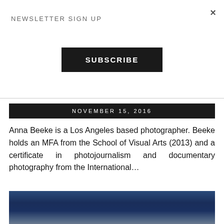NEWSLETTER SIGN UP
×
SUBSCRIBE
NOVEMBER 15, 2016
Anna Beeke is a Los Angeles based photographer. Beeke holds an MFA from the School of Visual Arts (2013) and a certificate in photojournalism and documentary photography from the International…
[Figure (photo): Landscape photo with dark blue sky gradient, appears to be a twilight or dawn outdoor scene]